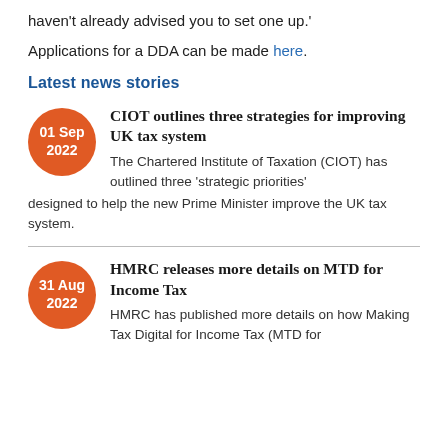haven't already advised you to set one up.'
Applications for a DDA can be made here.
Latest news stories
CIOT outlines three strategies for improving UK tax system
The Chartered Institute of Taxation (CIOT) has outlined three 'strategic priorities' designed to help the new Prime Minister improve the UK tax system.
HMRC releases more details on MTD for Income Tax
HMRC has published more details on how Making Tax Digital for Income Tax (MTD for